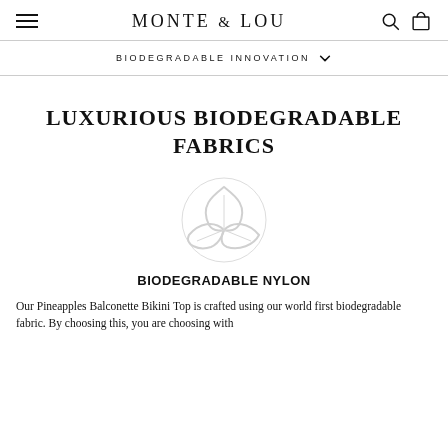MONTE & LOU
BIODEGRADABLE INNOVATION
LUXURIOUS BIODEGRADABLE FABRICS
[Figure (logo): Light grey leaf/plant watermark logo icon]
BIODEGRADABLE NYLON
Our Pineapples Balconette Bikini Top is crafted using our world first biodegradable fabric. By choosing this, you are choosing with